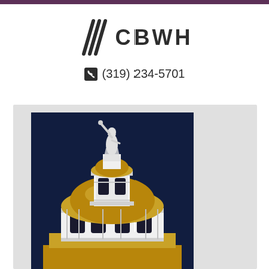[Figure (logo): CBWH law firm logo with diagonal slash marks and firm name]
(319) 234-5701
[Figure (photo): Close-up photo of a government building capitol dome at night with a golden dome and a classical statue on top, dark blue sky background]